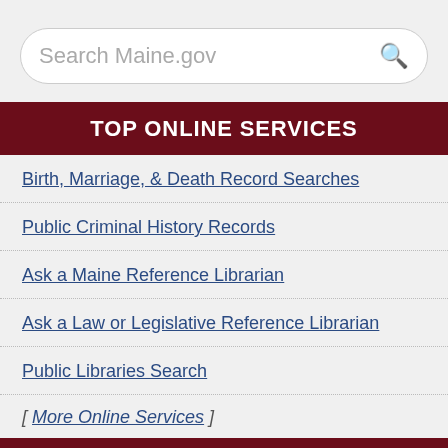Search Maine.gov
TOP ONLINE SERVICES
Birth, Marriage, & Death Record Searches
Public Criminal History Records
Ask a Maine Reference Librarian
Ask a Law or Legislative Reference Librarian
Public Libraries Search
[ More Online Services ]